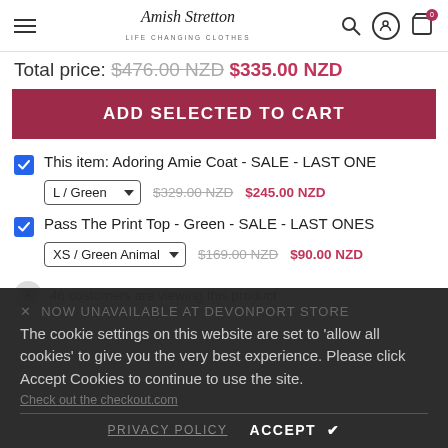Amish Stretton — LIFE CHANGING CLOTHES — navigation header with search, account, cart icons
Total price: $476.00 NZD $335.00 NZD
ADD SELECTED TO CART
This item: Adoring Amie Coat - SALE - LAST ONE — L / Green — $329.00 NZD $245.00 NZD
Pass The Print Top - Green - SALE - LAST ONES — XS / Green Animal — $169.00 NZD $90.00 NZD
46 customers are viewing this product
The cookie settings on this website are set to 'allow all cookies' to give you the very best experience. Please click Accept Cookies to continue to use the site.
PRIVACY POLICY   ACCEPT ✔